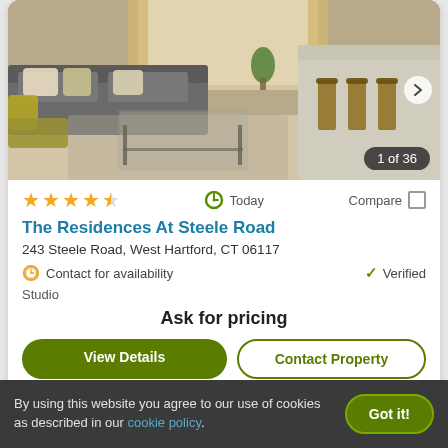[Figure (photo): Interior photo of a modern apartment living room with gray sofa, glass coffee table, and kitchen island in background. Shows '1 of 36' badge.]
★★★★☆  Today  Compare □
The Residences At Steele Road
243 Steele Road, West Hartford, CT 06117
⊙ Contact for availability  ✓ Verified
Studio
Ask for pricing
View Details  |  Contact Property
By using this website you agree to our use of cookies as described in our cookie policy.